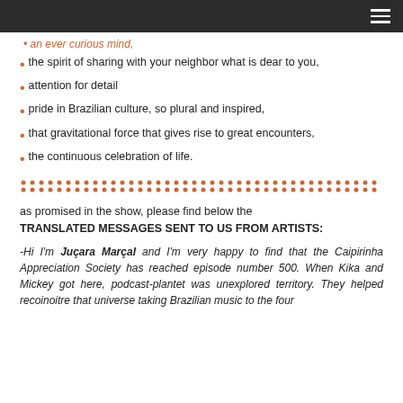an ever curious mind,
the spirit of sharing with your neighbor what is dear to you,
attention for detail
pride in Brazilian culture, so plural and inspired,
that gravitational force that gives rise to great encounters,
the continuous celebration of life.
as promised in the show, please find below the TRANSLATED MESSAGES SENT TO US FROM ARTISTS:
-Hi I'm Juçara Marçal and I'm very happy to find that the Caipirinha Appreciation Society has reached episode number 500. When Kika and Mickey got here, podcast-plantet was unexplored territory. They helped recoinoitre that universe taking Brazilian music to the four